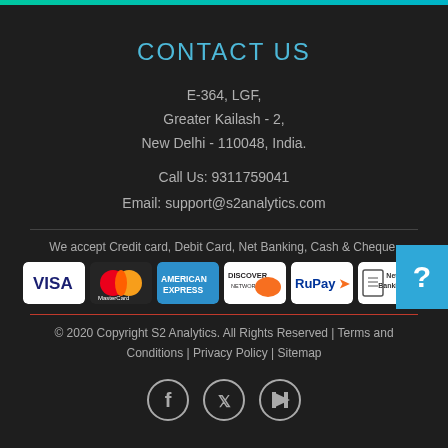CONTACT US
E-364, LGF,
Greater Kailash - 2,
New Delhi - 110048, India.
Call Us: 9311759041
Email: support@s2analytics.com
We accept Credit card, Debit Card, Net Banking, Cash & Cheque.
[Figure (logo): Payment method logos: VISA, MasterCard, American Express, Discover Network, RuPay, Net Banking]
© 2020 Copyright S2 Analytics. All Rights Reserved | Terms and Conditions | Privacy Policy | Sitemap
[Figure (illustration): Social media icons: Facebook, Twitter, YouTube]